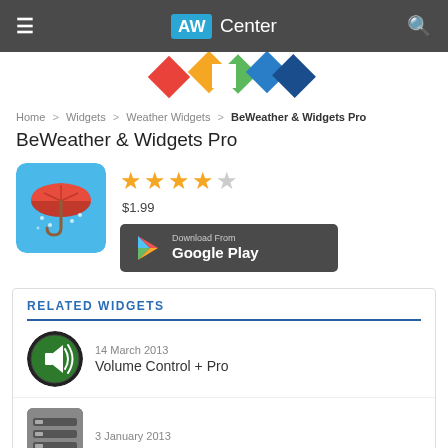AW Center
[Figure (logo): Colorful triangular/arrow logo marks in red, yellow, green, blue]
Home > Widgets > Weather Widgets > BeWeather & Widgets Pro
BeWeather & Widgets Pro
[Figure (illustration): App icon showing a red umbrella on a blue background with rain]
★★★★☆ $1.99
[Figure (other): Download From Google Play button]
RELATED WIDGETS
14 March 2013
Volume Control + Pro
3 January 2013